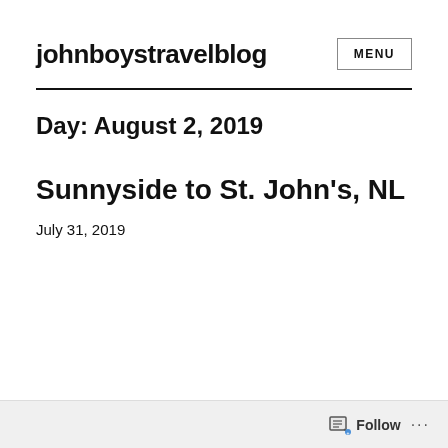johnboystravelblog
Day: August 2, 2019
Sunnyside to St. John's, NL
July 31, 2019
Follow ...